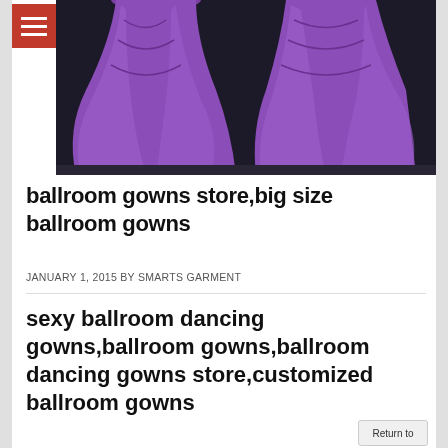[Figure (photo): Purple ballroom gowns with flowing fabric displayed against a dark background, showing two gowns side by side]
ballroom gowns store,big size ballroom gowns
JANUARY 1, 2015 BY SMARTS GARMENT
sexy ballroom dancing gowns,ballroom gowns,ballroom dancing gowns store,customized ballroom gowns